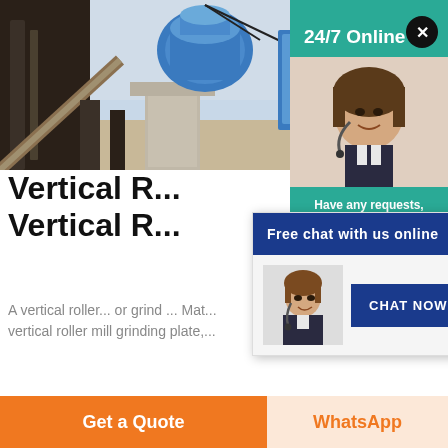[Figure (photo): Industrial machinery with blue cone crusher on a concrete pillar structure, conveyor belts and metal framework visible, outdoor industrial site.]
Vertical R...
Vertical R...
A vertical roller... or grind ... Mat... vertical roller mill grinding plate,...
Get Price
[Figure (screenshot): 24/7 Online customer service panel with a close button (X circle), agent photo, 'Have any requests, click here.' text, and Quotation button on teal background.]
[Figure (screenshot): Free chat with us online popup with chat header, agent image showing a smiling woman with headset, and CHAT NOW button.]
Get a Quote
WhatsApp